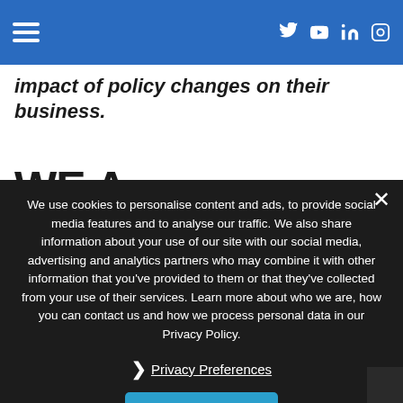Navigation bar with hamburger menu and social icons (Twitter, YouTube, LinkedIn, Instagram)
impact of policy changes on their business.
WE A
We use cookies to personalise content and ads, to provide social media features and to analyse our traffic. We also share information about your use of our site with our social media, advertising and analytics partners who may combine it with other information that you've provided to them or that they've collected from your use of their services. Learn more about who we are, how you can contact us and how we process personal data in our Privacy Policy.
› Privacy Preferences
I Agree